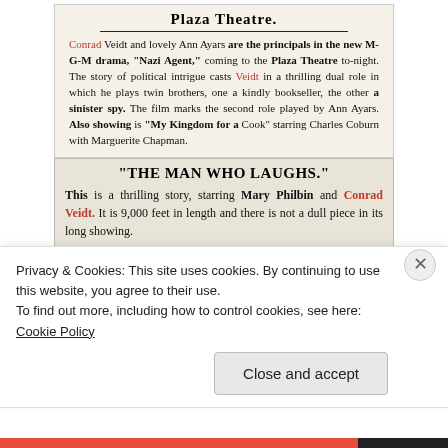Plaza Theatre.
Conrad Veidt and lovely Ann Ayars are the principals in the new M-G-M drama, "Nazi Agent," coming to the Plaza Theatre to-night. The story of political intrigue casts Veidt in a thrilling dual role in which he plays twin brothers, one a kindly bookseller, the other a sinister spy. The film marks the second role played by Ann Ayars. Also showing is "My Kingdom for a Cook" starring Charles Coburn with Marguerite Chapman.
"THE MAN WHO LAUGHS."
This is a thrilling story, starring Mary Philbin and Conrad Veidt. It is 9,000 feet in length and there is not a dull piece in its long showing.
'THE WANDERING JEW' IN SECOND WEEK
Privacy & Cookies: This site uses cookies. By continuing to use this website, you agree to their use.
To find out more, including how to control cookies, see here: Cookie Policy
Close and accept